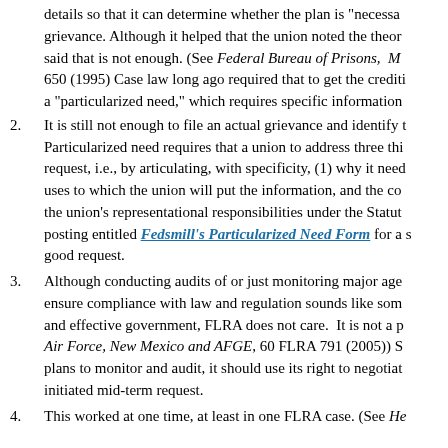details so that it can determine whether the plan is "necessa... grievance. Although it helped that the union noted the theor... said that is not enough. (See Federal Bureau of Prisons, M... 650 (1995) Case law long ago required that to get the credit... a "particularized need," which requires specific information...
2. It is still not enough to file an actual grievance and identify t... Particularized need requires that a union to address three thi... request, i.e., by articulating, with specificity, (1) why it need... uses to which the union will put the information, and the co... the union's representational responsibilities under the Statu... posting entitled Fedsmill's Particularized Need Form for a s... good request.
3. Although conducting audits of or just monitoring major age... ensure compliance with law and regulation sounds like som... and effective government, FLRA does not care. It is not a p... Air Force, New Mexico and AFGE, 60 FLRA 791 (2005)) S... plans to monitor and audit, it should use its right to negotiat... initiated mid-term request.
4. This worked at one time, at least in one FLRA case. (See He...